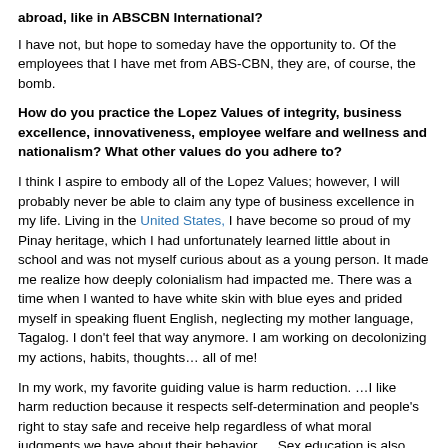abroad, like in ABSCBN International?
I have not, but hope to someday have the opportunity to. Of the employees that I have met from ABS-CBN, they are, of course, the bomb.
How do you practice the Lopez Values of integrity, business excellence, innovativeness, employee welfare and wellness and nationalism? What other values do you adhere to?
I think I aspire to embody all of the Lopez Values; however, I will probably never be able to claim any type of business excellence in my life. Living in the United States, I have become so proud of my Pinay heritage, which I had unfortunately learned little about in school and was not myself curious about as a young person. It made me realize how deeply colonialism had impacted me. There was a time when I wanted to have white skin with blue eyes and prided myself in speaking fluent English, neglecting my mother language, Tagalog. I don't feel that way anymore. I am working on decolonizing my actions, habits, thoughts… all of me!
In my work, my favorite guiding value is harm reduction. …I like harm reduction because it respects self-determination and people's right to stay safe and receive help regardless of what moral judgments we have about their behavior. …Sex education is also harm reduction and is something I wish was mandatory in schools. Harm reduction can be applied to any and all things in life.